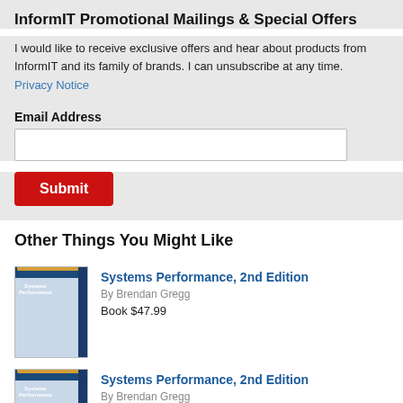InformIT Promotional Mailings & Special Offers
I would like to receive exclusive offers and hear about products from InformIT and its family of brands. I can unsubscribe at any time.
Privacy Notice
Email Address
Other Things You Might Like
Systems Performance, 2nd Edition
By Brendan Gregg
Book $47.99
Systems Performance, 2nd Edition
By Brendan Gregg
eBook (Watermarked) $38.39